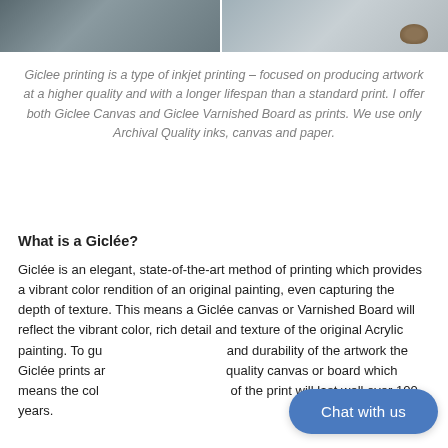[Figure (photo): Two-panel photo strip showing interior decor: left panel shows a grey sofa/couch, right panel shows a decorative tray with shells on a glass coffee table.]
Giclee printing is a type of inkjet printing – focused on producing artwork at a higher quality and with a longer lifespan than a standard print. I offer both Giclee Canvas and Giclee Varnished Board as prints. We use only Archival Quality inks, canvas and paper.
What is a Giclée?
Giclée is an elegant, state-of-the-art method of printing which provides a vibrant color rendition of an original painting, even capturing the depth of texture. This means a Giclée canvas or Varnished Board will reflect the vibrant color, rich detail and texture of the original Acrylic painting. To gu and durability of the artwork the Giclée prints ar quality canvas or board which means the col of the print will last well over 100 years.